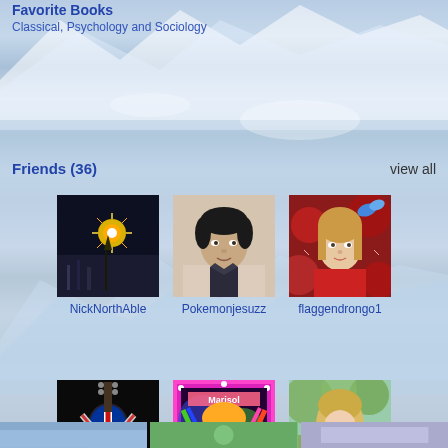Favorite Books
Classical, Psychology and Sociology
Friends  (36)
view all
[Figure (photo): Profile photo: fireworks over city at night (NickNorthAble)]
NickNorthAble
[Figure (photo): Profile photo: young man in dark clothing (Pokemonjesuzz)]
Pokemonjesuzz
[Figure (photo): Profile photo: woman with red roses and blue butterfly (flaggendrongo1)]
flaggendrongo1
[Figure (photo): Profile photo: UK flag guitar (GG46)]
GG46
[Figure (photo): Profile photo: colorful woman with sunglasses, Marisol overlay (moorea2010)]
moorea2010
[Figure (photo): Profile photo: blonde woman outdoors (PoetessPosses...)]
PoetessPosses: